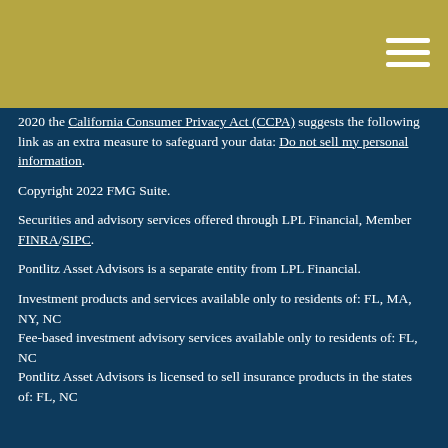2020 the California Consumer Privacy Act (CCPA) suggests the following link as an extra measure to safeguard your data: Do not sell my personal information.
Copyright 2022 FMG Suite.
Securities and advisory services offered through LPL Financial, Member FINRA/SIPC.
Pontlitz Asset Advisors is a separate entity from LPL Financial.
Investment products and services available only to residents of: FL, MA, NY, NC
Fee-based investment advisory services available only to residents of: FL, NC
Pontlitz Asset Advisors is licensed to sell insurance products in the states of: FL, NC